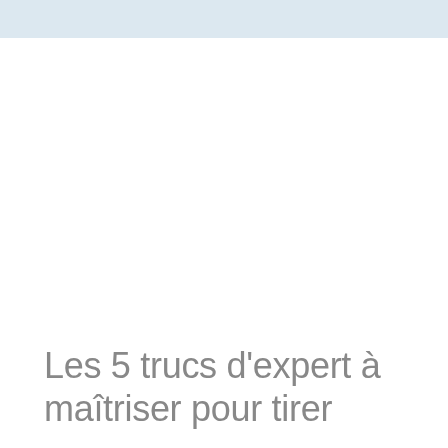Les 5 trucs d'expert à maîtriser pour tirer